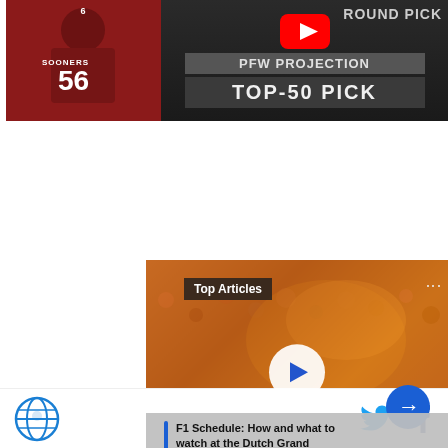[Figure (screenshot): Football player in red Sooners jersey #56 alongside YouTube video overlay showing 'PFW PROJECTION TOP-50 PICK' and 'ROUND PICK' text on dark background]
[Figure (screenshot): Video player thumbnail showing crowd at football game with orange smoke, 'Top Articles' badge, play button, mute icon, navigation arrow, and caption 'F1 Schedule: How and what to watch at the Dutch Grand Prix (Zandvoort)']
Footer with globe logo icon and social media icons for Twitter and Facebook